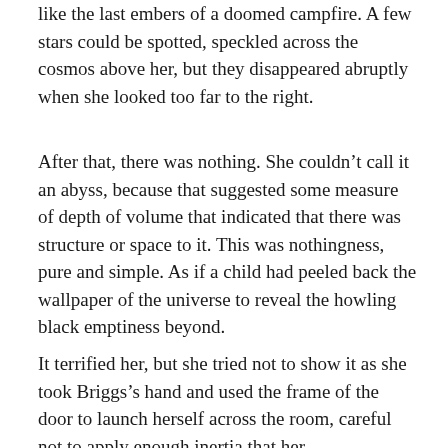like the last embers of a doomed campfire. A few stars could be spotted, speckled across the cosmos above her, but they disappeared abruptly when she looked too far to the right.
After that, there was nothing. She couldn't call it an abyss, because that suggested some measure of depth of volume that indicated that there was structure or space to it. This was nothingness, pure and simple. As if a child had peeled back the wallpaper of the universe to reveal the howling black emptiness beyond.
It terrified her, but she tried not to show it as she took Briggs's hand and used the frame of the door to launch herself across the room, careful not to apply enough inertia that her